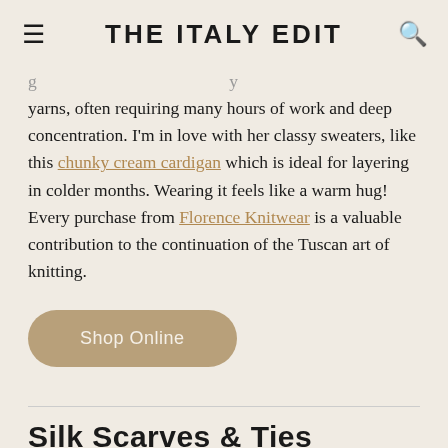THE ITALY EDIT
yarns, often requiring many hours of work and deep concentration. I'm in love with her classy sweaters, like this chunky cream cardigan which is ideal for layering in colder months. Wearing it feels like a warm hug! Every purchase from Florence Knitwear is a valuable contribution to the continuation of the Tuscan art of knitting.
Shop Online
Silk Scarves & Ties